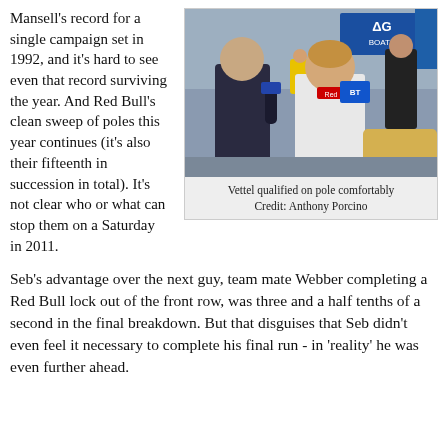Mansell's record for a single campaign set in 1992, and it's hard to see even that record surviving the year. And Red Bull's clean sweep of poles this year continues (it's also their fifteenth in succession in total). It's not clear who or what can stop them on a Saturday in 2011.
[Figure (photo): Sebastian Vettel being interviewed by media, wearing a Red Bull branded white shirt, with a microphone in frame. AG Boats sign visible in background.]
Vettel qualified on pole comfortably
Credit: Anthony Porcino
Seb's advantage over the next guy, team mate Webber completing a Red Bull lock out of the front row, was three and a half tenths of a second in the final breakdown. But that disguises that Seb didn't even feel it necessary to complete his final run - in 'reality' he was even further ahead.